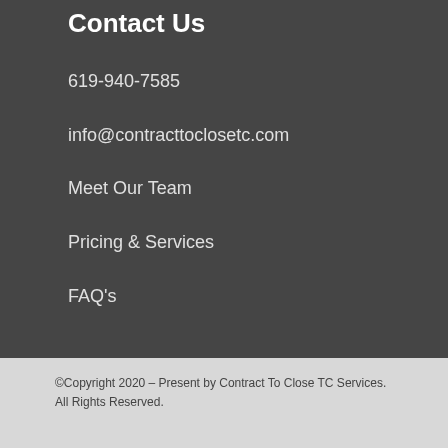Contact Us
619-940-7585
info@contracttoclosetc.com
Meet Our Team
Pricing & Services
FAQ's
©Copyright 2020 – Present by Contract To Close TC Services. All Rights Reserved.